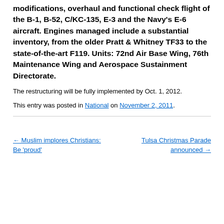modifications, overhaul and functional check flight of the B-1, B-52, C/KC-135, E-3 and the Navy's E-6 aircraft. Engines managed include a substantial inventory, from the older Pratt & Whitney TF33 to the state-of-the-art F119. Units: 72nd Air Base Wing, 76th Maintenance Wing and Aerospace Sustainment Directorate.
The restructuring will be fully implemented by Oct. 1, 2012.
This entry was posted in National on November 2, 2011.
← Muslim implores Christians: Be 'proud'
Tulsa Christmas Parade announced →